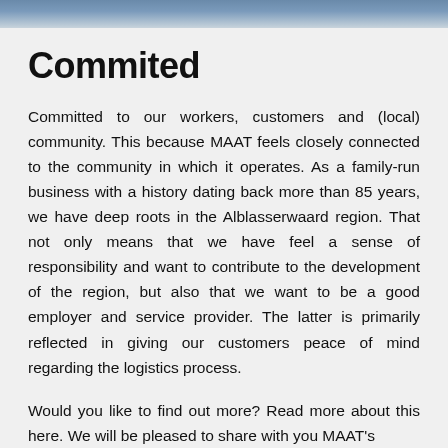[Figure (photo): Photo strip at top of page showing people, partially cropped]
Commited
Committed to our workers, customers and (local) community. This because MAAT feels closely connected to the community in which it operates. As a family-run business with a history dating back more than 85 years, we have deep roots in the Alblasserwaard region. That not only means that we have feel a sense of responsibility and want to contribute to the development of the region, but also that we want to be a good employer and service provider. The latter is primarily reflected in giving our customers peace of mind regarding the logistics process.
Would you like to find out more? Read more about this here. We will be pleased to share with you MAAT's